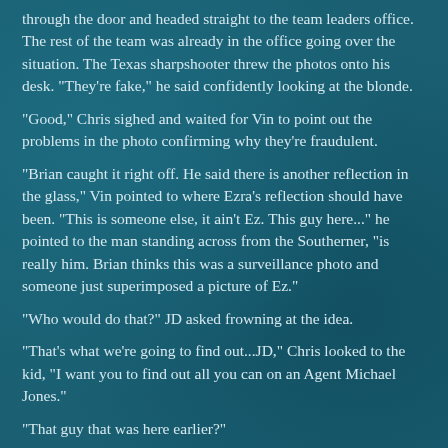through the door and headed straight to the team leaders office. The rest of the team was already in the office going over the situation. The Texas sharpshooter threw the photos onto his desk. "They're fake," he said confidently looking at the blonde.
"Good," Chris sighed and waited for Vin to point out the problems in the photo confirming why they're fraudulent.
"Brian caught it right off. He said there is another reflection in the glass," Vin pointed to where Ezra's reflection should have been. "This is someone else, it ain't Ez. This guy here..." he pointed to the man standing across from the Southerner, "is really him. Brian thinks this was a surveillance photo and someone just superimposed a picture of Ez."
"Who would do that?" JD asked frowning at the idea.
"That's what we're going to find out...JD," Chris looked to the kid, "I want you to find out all you can on an Agent Michael Jones."
"That guy that was here earlier?"